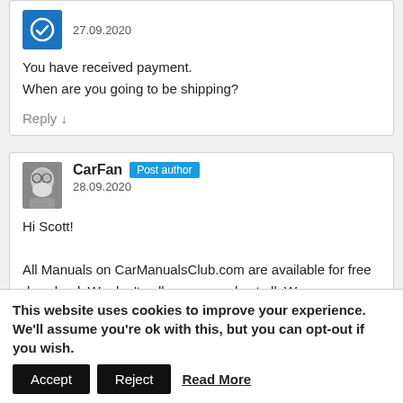[Figure (illustration): Blue circular avatar icon for commenter]
27.09.2020
You have received payment.
When are you going to be shipping?
Reply ↓
[Figure (photo): Black and white profile photo of an elderly man with glasses and white beard (CarFan)]
CarFan Post author 28.09.2020
Hi Scott!
All Manuals on CarManualsClub.com are available for free download. We don't sell any manuals at all. We are wondering – could you give more details about your buying/purchasing?
Best regards, Michael
This website uses cookies to improve your experience. We'll assume you're ok with this, but you can opt-out if you wish.